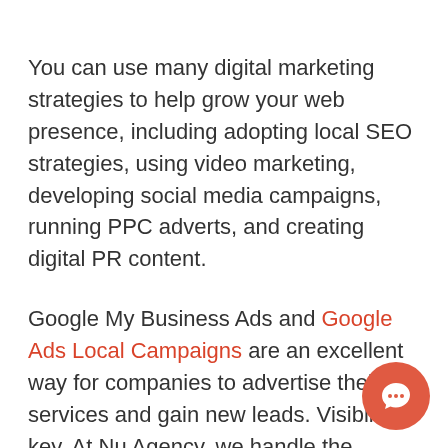You can use many digital marketing strategies to help grow your web presence, including adopting local SEO strategies, using video marketing, developing social media campaigns, running PPC adverts, and creating digital PR content.
Google My Business Ads and Google Ads Local Campaigns are an excellent way for companies to advertise their services and gain new leads. Visibility is key. At Nu Agency, we handle the advertising details so you can do what you do best—run your business!
Do you need more marketing ideas? Check out our free guide for 10...